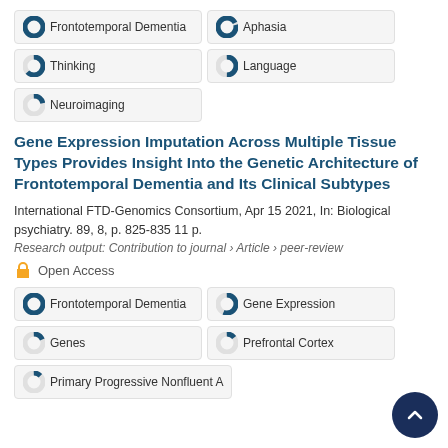100% Frontotemporal Dementia
97% Aphasia
63% Thinking
50% Language
22% Neuroimaging
Gene Expression Imputation Across Multiple Tissue Types Provides Insight Into the Genetic Architecture of Frontotemporal Dementia and Its Clinical Subtypes
International FTD-Genomics Consortium, Apr 15 2021, In: Biological psychiatry. 89, 8, p. 825-835 11 p.
Research output: Contribution to journal › Article › peer-review
Open Access
100% Frontotemporal Dementia
56% Gene Expression
19% Genes
15% Prefrontal Cortex
13% Primary Progressive Nonfluent A